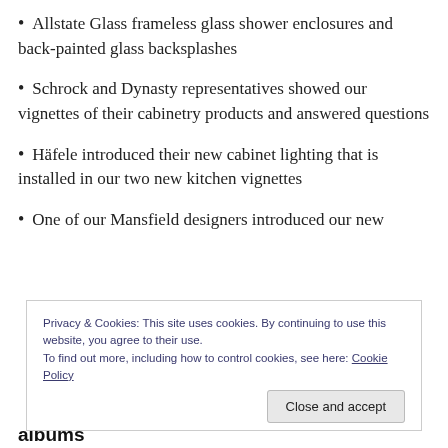Allstate Glass frameless glass shower enclosures and back-painted glass backsplashes
Schrock and Dynasty representatives showed our vignettes of their cabinetry products and answered questions
Häfele introduced their new cabinet lighting that is installed in our two new kitchen vignettes
One of our Mansfield designers introduced our new
Privacy & Cookies: This site uses cookies. By continuing to use this website, you agree to their use.
To find out more, including how to control cookies, see here: Cookie Policy
albums